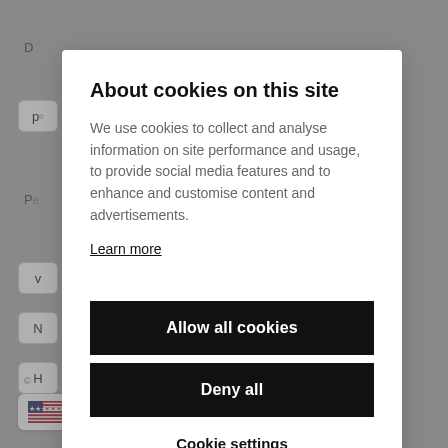About cookies on this site
We use cookies to collect and analyse information on site performance and usage, to provide social media features and to enhance and customise content and advertisements.
Learn more
Allow all cookies
Deny all
Cookie settings